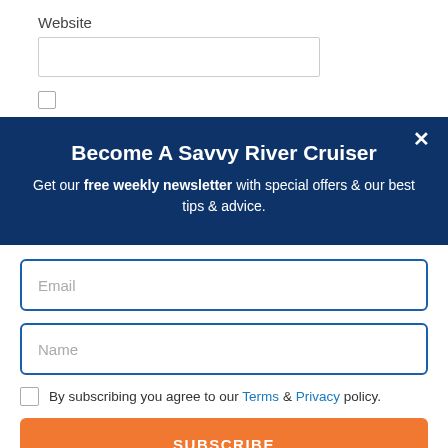Website
[Figure (screenshot): Website input text field (empty, white background with grey border)]
[Figure (screenshot): Unchecked checkbox]
Become A Savvy River Cruiser
Get our free weekly newsletter with special offers & our best tips & advice.
[Figure (screenshot): Email input field with placeholder text 'Email', blue border]
[Figure (screenshot): Name input field with placeholder text 'Name', blue border]
By subscribing you agree to our Terms & Privacy policy.
SUBSCRIBE